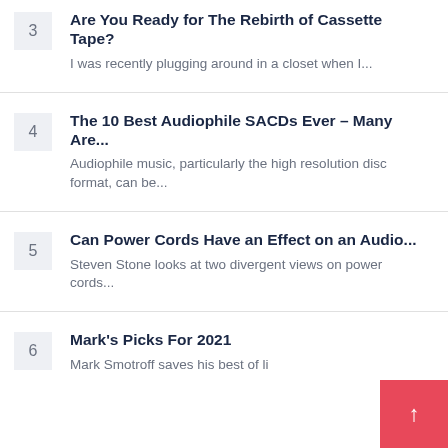3 — Are You Ready for The Rebirth of Cassette Tape? — I was recently plugging around in a closet when I...
4 — The 10 Best Audiophile SACDs Ever – Many Are... — Audiophile music, particularly the high resolution disc format, can be...
5 — Can Power Cords Have an Effect on an Audio... — Steven Stone looks at two divergent views on power cords...
6 — Mark's Picks For 2021 — Mark Smotroff saves his best of li...